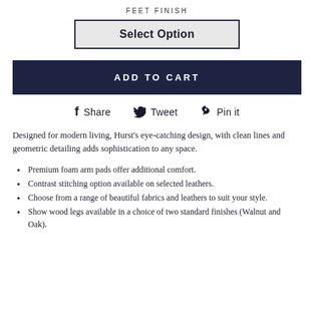FEET FINISH
Select Option
ADD TO CART
f Share   Tweet   Pin it
Designed for modern living, Hurst's eye-catching design, with clean lines and geometric detailing adds sophistication to any space.
Premium foam arm pads offer additional comfort.
Contrast stitching option available on selected leathers.
Choose from a range of beautiful fabrics and leathers to suit your style.
Show wood legs available in a choice of two standard finishes (Walnut and Oak).